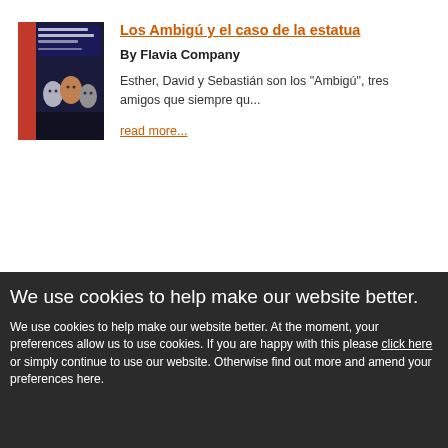[Figure (illustration): Book cover of 'Los Ambigú y el caso de las estatuas' by Flavia Company, showing three cartoon/puppet characters and a red publisher logo on a dark background]
Los Ambigú y el caso de la estatua
By Flavia Company
Esther, David y Sebastián son los "Ambigú", tres amigos que siempre qu...
read more...
We use cookies to help make our website better.
We use cookies to help make our website better. At the moment, your preferences allow us to use cookies. If you are happy with this please click here or simply continue to use our website. Otherwise find out more and amend your preferences here.